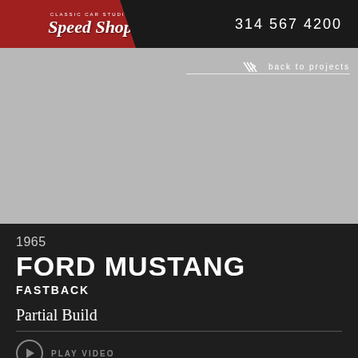Classic Car Studio Speed Shop — 314 567 4200
[Figure (photo): Gray placeholder image area for a 1965 Ford Mustang Fastback project photo]
back to projects
1965
FORD MUSTANG
FASTBACK
Partial Build
PLAY VIDEO